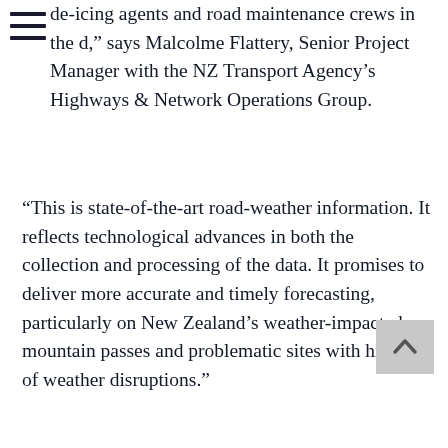de-icing agents and road maintenance crews in the d," says Malcolme Flattery, Senior Project Manager with the NZ Transport Agency's Highways & Network Operations Group.
“This is state-of-the-art road-weather information. It reflects technological advances in both the collection and processing of the data. It promises to deliver more accurate and timely forecasting, particularly on New Zealand’s weather-impacted mountain passes and problematic sites with histories of weather disruptions.”
Peter Fisher, Business Development Manager, Key Accounts for MetService says the new services promise to further enhance the quality of decision-support provided by MetService.
“It’s not just about winter weather. The weather in New Zealand can impact the safety of road users at any time